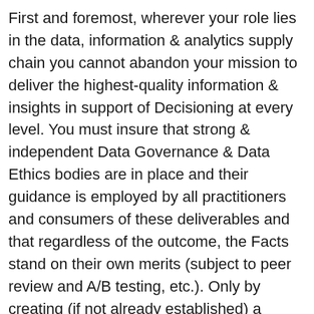First and foremost, wherever your role lies in the data, information & analytics supply chain you cannot abandon your mission to deliver the highest-quality information & insights in support of Decisioning at every level. You must insure that strong & independent Data Governance & Data Ethics bodies are in place and their guidance is employed by all practitioners and consumers of these deliverables and that regardless of the outcome, the Facts stand on their own merits (subject to peer review and A/B testing, etc.). Only by creating (if not already established) a bedrock data foundation for Decisioning, built on transparency, veracity, lineage, proven rigors & pristine quality can a platform for the “Truth” be achieved, much less maintained. It is critical that as the Post-Truth paradigm plays itself out that this foundation for the Truth be maintained and protected at all costs. The old adage